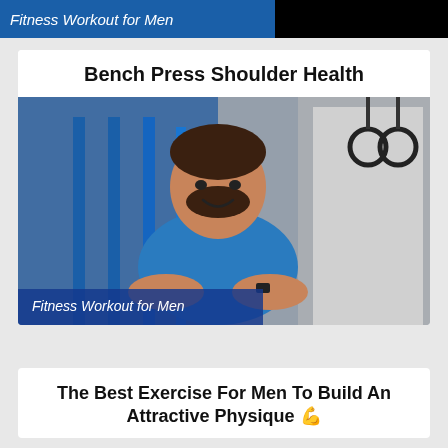Fitness Workout for Men
Bench Press Shoulder Health
[Figure (photo): A muscular man in a blue t-shirt standing with arms crossed in a gym with blue equipment and TRX straps in the background, smiling at the camera.]
Fitness Workout for Men
The Best Exercise For Men To Build An Attractive Physique 💪